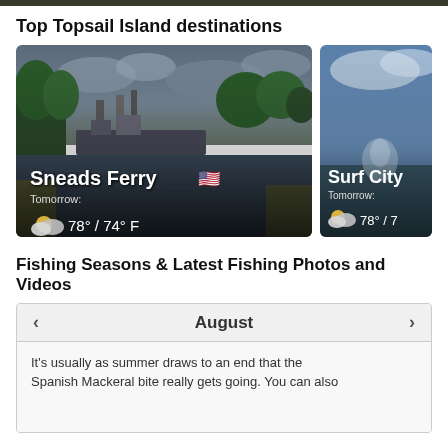Top Topsail Island destinations
[Figure (photo): Sneads Ferry harbor with fishing boats and water reflection under cloudy sky. Shows location name 'Sneads Ferry' with US flag emoji, weather: Tomorrow: 78° / 74° F with partly cloudy icon.]
[Figure (photo): Surf City coastal scene with blue sky and clouds. Shows location name 'Surf City', weather: Tomorrow: 78° / 7... with partly cloudy icon. Card is partially cropped.]
Fishing Seasons & Latest Fishing Photos and Videos
August
It's usually as summer draws to an end that the Spanish Mackeral bite really gets going. You can also...